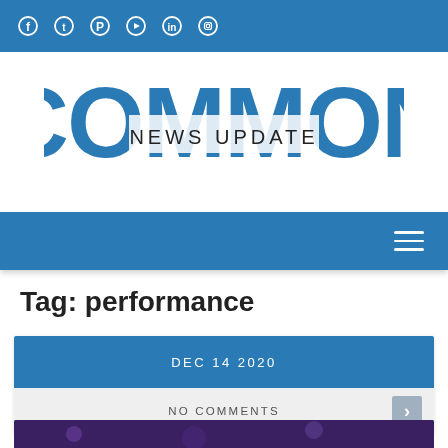Social media icons: Facebook, Twitter, Pinterest, YouTube, LinkedIn, Instagram
[Figure (logo): COMMON NEWS UPDATE logo — large blue letters spelling COMMON with NEWS UPDATE overlaid in dark text in the center]
[Figure (other): Navigation bar with hamburger menu icon on right, blue background]
Tag: performance
DEC 14 2020
NO COMMENTS
[Figure (photo): Partial preview of an article image with dark purple/blue tones at the bottom of the page]